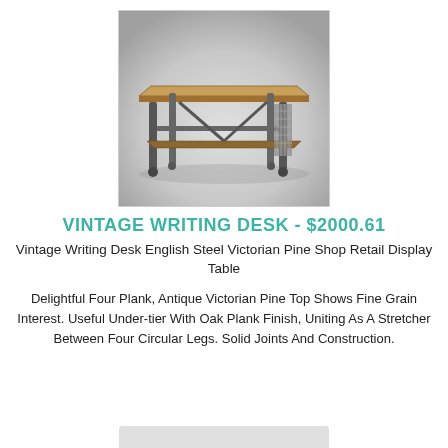[Figure (photo): Photograph of a vintage writing desk with a wooden top and industrial steel frame with casters, shown against a light grey background.]
VINTAGE WRITING DESK - $2000.61
Vintage Writing Desk English Steel Victorian Pine Shop Retail Display Table
Delightful Four Plank, Antique Victorian Pine Top Shows Fine Grain Interest. Useful Under-tier With Oak Plank Finish, Uniting As A Stretcher Between Four Circular Legs. Solid Joints And Construction.